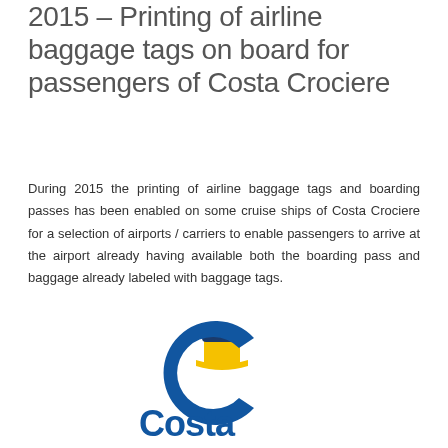2015 – Printing of airline baggage tags on board for passengers of Costa Crociere
During 2015 the printing of airline baggage tags and boarding passes has been enabled on some cruise ships of Costa Crociere for a selection of airports / carriers to enable passengers to arrive at the airport already having available both the boarding pass and baggage already labeled with baggage tags.
[Figure (logo): Costa Crociere logo: a blue letter C with a gold/yellow cruise ship funnel, and the word 'Costa' in bold blue letters below]